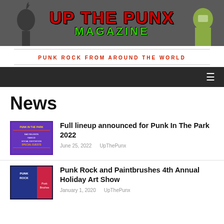[Figure (logo): Up The Punx Magazine banner logo with red bold text 'UP THE PUNX' and green 'MAGAZINE' text over a dark crowd background]
PUNK ROCK FROM AROUND THE WORLD
[Figure (other): Dark navigation bar with hamburger menu icon on the right]
News
[Figure (photo): Thumbnail image for Punk In The Park 2022 article - purple/dark concert poster]
Full lineup announced for Punk In The Park 2022
June 25, 2022   UpThePunx
[Figure (photo): Thumbnail image for Punk Rock and Paintbrushes 4th Annual Holiday Art Show - dark blue and red art show poster]
Punk Rock and Paintbrushes 4th Annual Holiday Art Show
January 1, 2020   UpThePunx